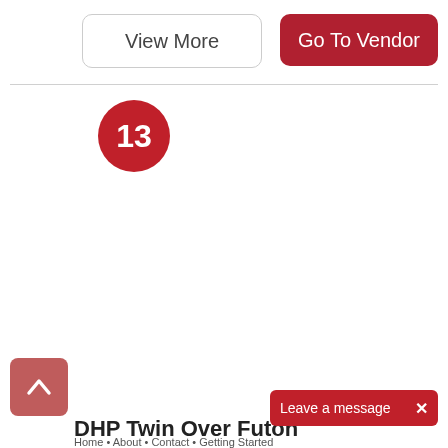[Figure (screenshot): Button labeled 'View More' with rounded border on white background]
[Figure (screenshot): Button labeled 'Go To Vendor' with red rounded background and white text]
[Figure (other): Red circular badge with the number 13 in white bold text]
[Figure (other): Red rounded scroll-to-top button with upward arrow icon]
DHP Twin Over Futon
Home • About • Contact • Getting Started
[Figure (other): Red button labeled 'Leave a message' with an X close icon]